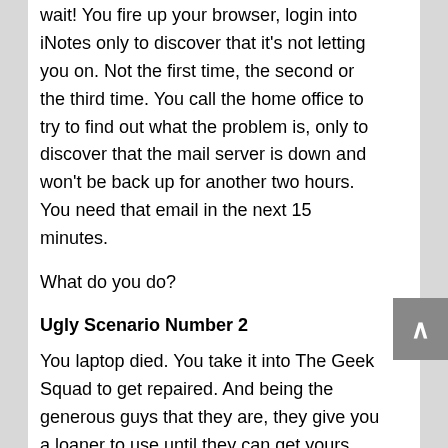wait! You fire up your browser, login into iNotes only to discover that it's not letting you on. Not the first time, the second or the third time. You call the home office to try to find out what the problem is, only to discover that the mail server is down and won't be back up for another two hours. You need that email in the next 15 minutes.
What do you do?
Ugly Scenario Number 2
You laptop died. You take it into The Geek Squad to get repaired. And being the generous guys that they are, they give you a loaner to use until they can get yours working again. It has all of the latest applications on it, MS office, Adobe Illustrator, Dreamweaver… even has the latest edition of Half-Life on it. But it doesn't have a Lotus Notes client application. And the Home office didn't set up iNotes because no one ever needed it. Can you live without email